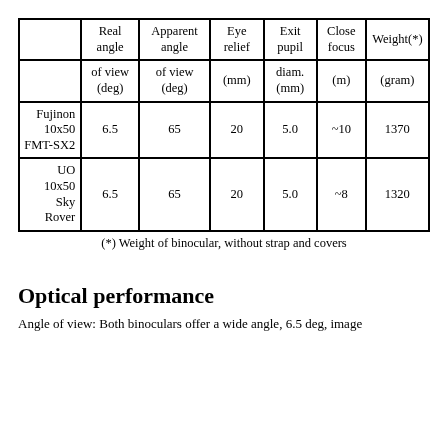|  | Real angle | Apparent angle | Eye relief | Exit pupil | Close focus | Weight(*) |
| --- | --- | --- | --- | --- | --- | --- |
|  | of view (deg) | of view (deg) | (mm) | diam. (mm) | (m) | (gram) |
| Fujinon 10x50 FMT-SX2 | 6.5 | 65 | 20 | 5.0 | ~10 | 1370 |
| UO 10x50 Sky Rover | 6.5 | 65 | 20 | 5.0 | ~8 | 1320 |
(*) Weight of binocular, without strap and covers
Optical performance
Angle of view: Both binoculars offer a wide angle, 6.5 deg, image